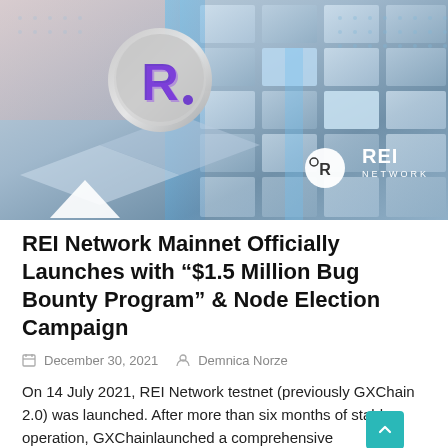[Figure (illustration): 3D rendered hero image showing floating geometric tiles/blocks in light blue and white tones with glowing blue light strips. A large 3D letter R logo coin is visible at top-left. REI Network logo appears at bottom-right with white circle icon and text REI NETWORK.]
REI Network Mainnet Officially Launches with “$1.5 Million Bug Bounty Program” & Node Election Campaign
December 30, 2021   Demnica Norze
On 14 July 2021, REI Network testnet (previously GXChain 2.0) was launched. After more than six months of stable operation, GXChainlaunched a comprehensive